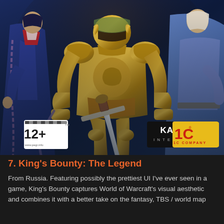[Figure (illustration): Game cover art for King's Bounty: The Legend showing armored fantasy knight in gold armor wielding a sword, flanked by other characters; includes PEGI 12+ rating logo, Katauri Interactive logo, and 1C Company logo at bottom]
7. King's Bounty: The Legend
From Russia. Featuring possibly the prettiest UI I've ever seen in a game, King's Bounty captures World of Warcraft's visual aesthetic and combines it with a better take on the fantasy, TBS / world map